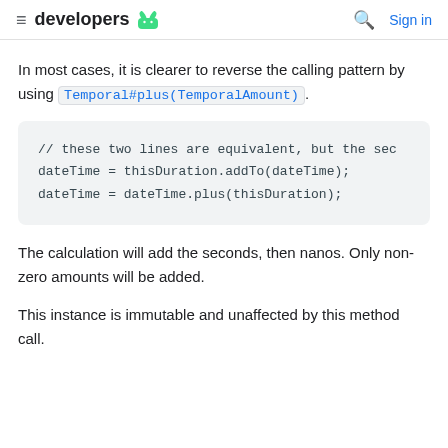developers [android logo] | [search icon] Sign in
In most cases, it is clearer to reverse the calling pattern by using Temporal#plus(TemporalAmount).
// these two lines are equivalent, but the sec
dateTime = thisDuration.addTo(dateTime);
dateTime = dateTime.plus(thisDuration);
The calculation will add the seconds, then nanos. Only non-zero amounts will be added.
This instance is immutable and unaffected by this method call.